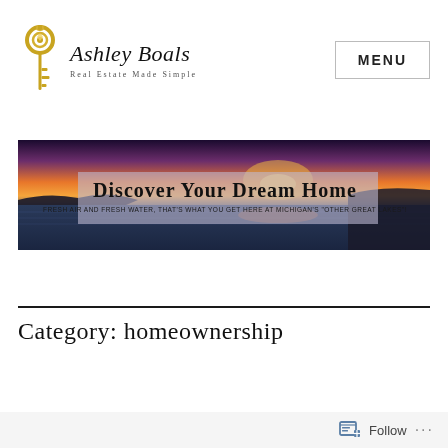[Figure (logo): Ashley Boals Real Estate Made Simple logo with a golden key icon on the left and script brand name and tagline on the right]
MENU
[Figure (photo): Banner photo of a sunset over a lake with text overlay: 'Discover Your Dream Home' and subtitle 'FRESH AIR AND FRESH WATER, THAT'S WHAT YOU GET HERE AT MICHIGAN'S "OTHER GREAT LAKES"!']
Category: homeownership
Follow ...